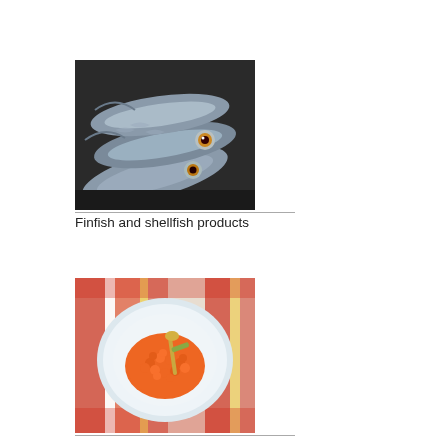[Figure (photo): Close-up photograph of multiple fresh fish (finfish) piled together, showing silver bodies and large eyes]
Finfish and shellfish products
[Figure (photo): Photograph of a plate of baked beans with a spoon, served on a colorful striped tablecloth]